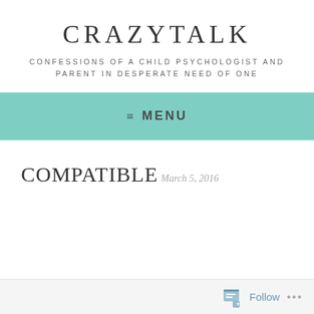CRAZYTALK
CONFESSIONS OF A CHILD PSYCHOLOGIST AND PARENT IN DESPERATE NEED OF ONE
≡ MENU
COMPATIBLE
March 5, 2016
Follow ...